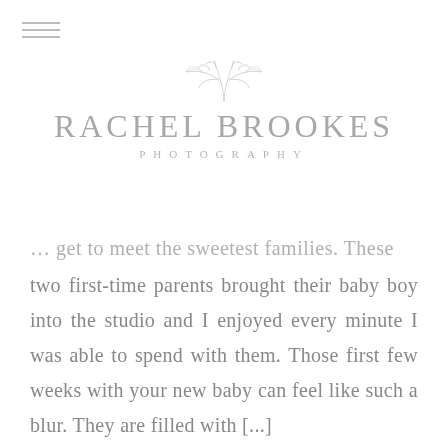[Figure (logo): Rachel Brookes Photography logo with decorative leaf/branch illustration above the text]
… get to meet the sweetest families. These two first-time parents brought their baby boy into the studio and I enjoyed every minute I was able to spend with them. Those first few weeks with your new baby can feel like such a blur. They are filled with [...]